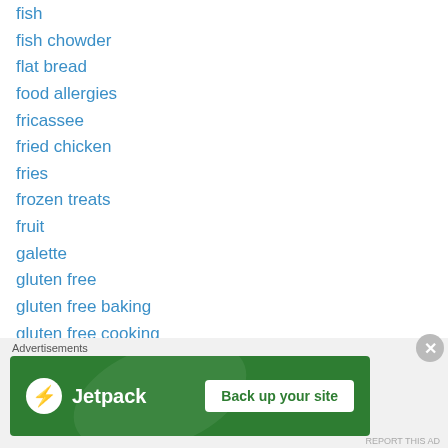fish
fish chowder
flat bread
food allergies
fricassee
fried chicken
fries
frozen treats
fruit
galette
gluten free
gluten free baking
gluten free cooking
gluten free flour
gluten free life style
gluten free pasta
gluten free
[Figure (screenshot): Jetpack advertisement banner with 'Back up your site' button on green background]
Advertisements
REPORT THIS AD